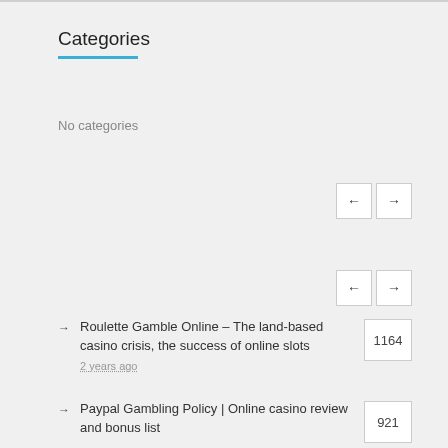Categories
No categories
Roulette Gamble Online – The land-based casino crisis, the success of online slots
2 years ago
1164
Paypal Gambling Policy | Online casino review and bonus list
921